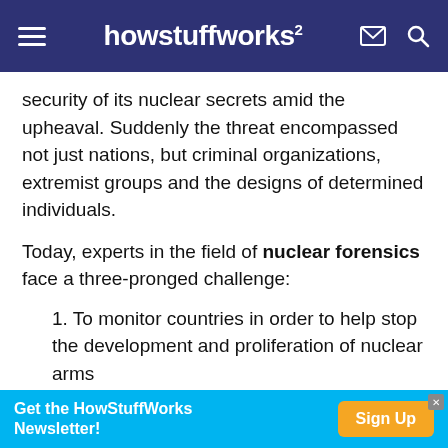howstuffworks
security of its nuclear secrets amid the upheaval. Suddenly the threat encompassed not just nations, but criminal organizations, extremist groups and the designs of determined individuals.
Today, experts in the field of nuclear forensics face a three-pronged challenge:
1. To monitor countries in order to help stop the development and proliferation of nuclear arms
2. To track the activities of smugglers and extremist groups in order to prevent the transfer
Get the HowStuffWorks Newsletter! Sign Up